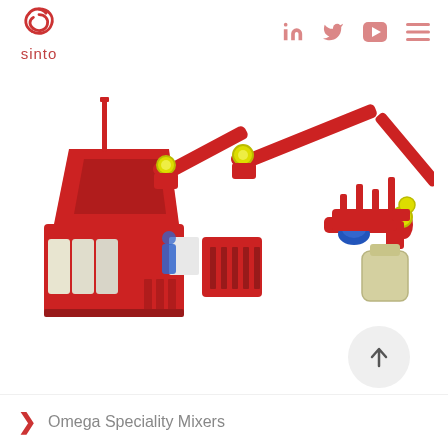sinto
[Figure (illustration): 3D rendered illustration of a red Omega Speciality Mixer industrial machine with conveyors, motors, and a yellow-green separator unit on a white background]
Omega Speciality Mixers